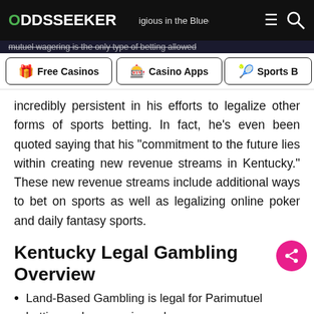ODDSSEEKER
incredibly persistent in his efforts to legalize other forms of sports betting. In fact, he's even been quoted saying that his “commitment to the future lies within creating new revenue streams in Kentucky.” These new revenue streams include additional ways to bet on sports as well as legalizing online poker and daily fantasy sports.
Kentucky Legal Gambling Overview
Land-Based Gambling is legal for Parimutuel betting on horse racing only
Online Gambling is legal for Parimutuel betting and lottery only